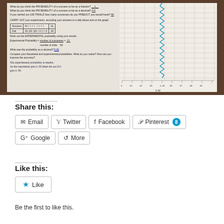[Figure (photo): Photo of a student worksheet on probability with a number line graph. The worksheet shows questions about probability of success as a fraction and decimal, a tally table, experimental probability calculation (21/50 = 0.42), and handwritten answers including 'The experimental probability is smaller. As the experiment gets to 50 times the see if it gets to 50.' A number line graph runs from 0 to 1 with a blue zigzag line marked at 0.42.]
Share this:
Email
Twitter
Facebook
Pinterest 8
Google
More
Like this:
Like
Be the first to like this.